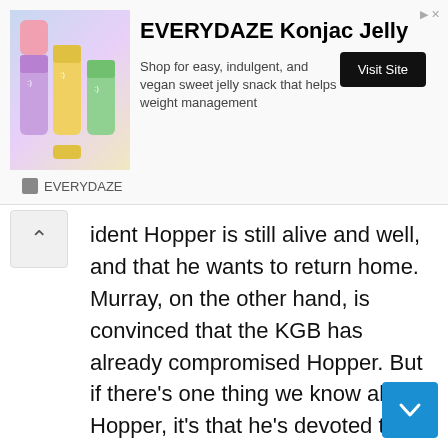[Figure (infographic): Advertisement banner for EVERYDAZE Konjac Jelly with product image, title, description, and Visit Site button]
ident Hopper is still alive and well, and that he wants to return home. Murray, on the other hand, is convinced that the KGB has already compromised Hopper. But if there's one thing we know about Hopper, it's that he's devoted to those he cares about, and this appears to be a genuine attempt to track down Joyce.
On ‘Stranger Things,’ why is Hopper in Russia?
Stranger Things Season 3 reveals that the Russian military is studying the Upside Down in a lab beneath the Hawkins mall. Hawkins is essentially a hellhole for the other world, so it’s no surprise that the Russians chose it as a testing ground. In the